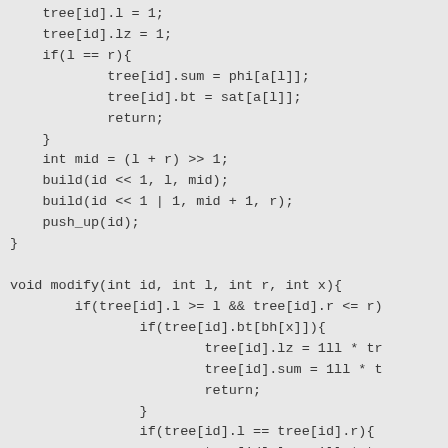tree[id].l = 1;
    tree[id].lz = 1;
    if(l == r){
            tree[id].sum = phi[a[l]];
            tree[id].bt = sat[a[l]];
            return;
    }
    int mid = (l + r) >> 1;
    build(id << 1, l, mid);
    build(id << 1 | 1, mid + 1, r);
    push_up(id);
}

void modify(int id, int l, int r, int x){
        if(tree[id].l >= l && tree[id].r <= r)
                if(tree[id].bt[bh[x]]){
                        tree[id].lz = 1ll * tr
                        tree[id].sum = 1ll * t
                        return;
                }
                if(tree[id].l == tree[id].r){
                        tree[id].lz = 1ll * tr